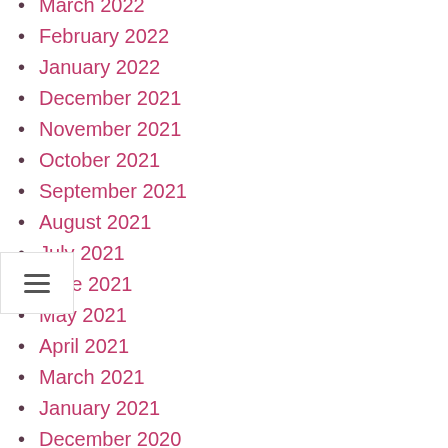March 2022
February 2022
January 2022
December 2021
November 2021
October 2021
September 2021
August 2021
July 2021
June 2021
May 2021
April 2021
March 2021
January 2021
December 2020
November 2020
October 2020
September 2020
July 2020